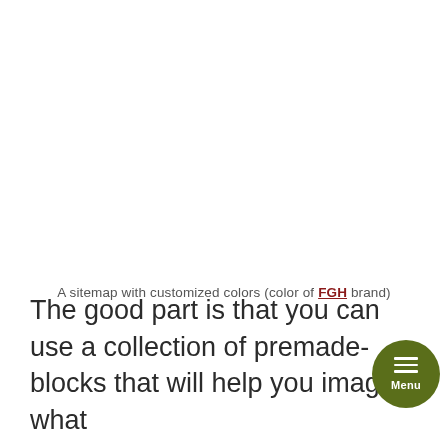A sitemap with customized colors (color of FGH brand)
The good part is that you can use a collection of premade-blocks that will help you imagine what